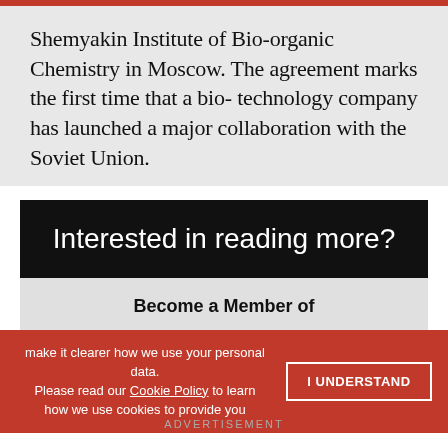Shemyakin Institute of Bio-organic Chemistry in Moscow. The agreement marks the first time that a bio- technology company has launched a major collaboration with the Soviet Union.
[Figure (infographic): Promotional box with black banner reading 'Interested in reading more?' and gray section below with 'Become a Member of TheScientist' text.]
make it clearer how we use your personal data. Please read our Cookie Policy to learn how we use cookies to provide you
I UNDERSTAND
ADVERTISEMENT